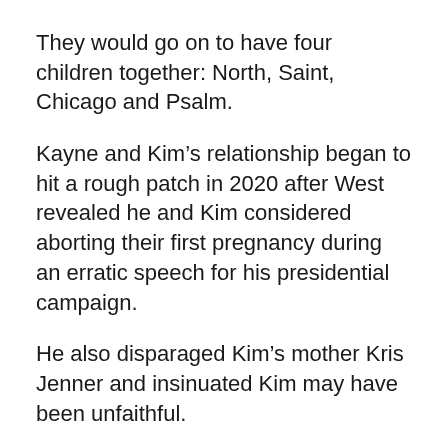They would go on to have four children together: North, Saint, Chicago and Psalm.
Kayne and Kim’s relationship began to hit a rough patch in 2020 after West revealed he and Kim considered aborting their first pregnancy during an erratic speech for his presidential campaign.
He also disparaged Kim’s mother Kris Jenner and insinuated Kim may have been unfaithful.
The couple tried to work things out, with an emotional Kardashian seen visiting her husband at his Wyoming ranch last July.